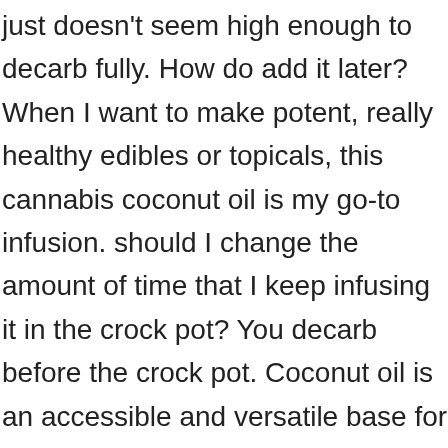just doesn't seem high enough to decarb fully. How do add it later? When I want to make potent, really healthy edibles or topicals, this cannabis coconut oil is my go-to infusion. should I change the amount of time that I keep infusing it in the crock pot? You decarb before the crock pot. Coconut oil is an accessible and versatile base for creating strong cannabis infusions, topicals and medicinal edibles because of its high saturated fat content. Here's a solid article by BadKat's CannaPharm that talks more about why water is unnecessary and leads to less effective cannabis oil. I came back looking for your awesome brownie recipe, but it's gone! After doing this for a long time, I realized that mi. Hi Corinne, I recently had a go at making the coconut oil, used about 1.5g of well-dried bud (we didn't decarboxylate because we thought it was dry enough